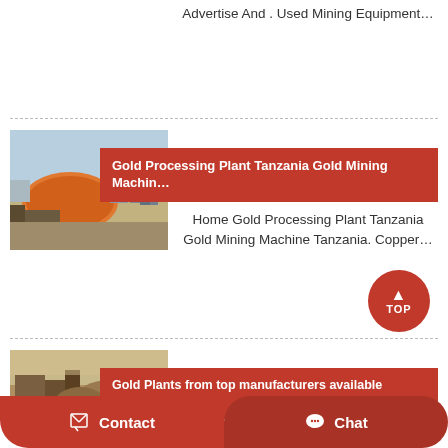Advertise And . Used Mining Equipment…
[Figure (photo): Mining processing plant with industrial structures and machinery]
Gold Processing Plant Tanzania Gold Mining Machin…
Home Gold Processing Plant Tanzania Gold Mining Machine Tanzania. Copper…
Gold Plants from top manufacturers available Ritchi…
[Figure (photo): Aerial view of gold mining site with sandy terrain and machinery]
We sell gold plants from all the major
Contact
Chat